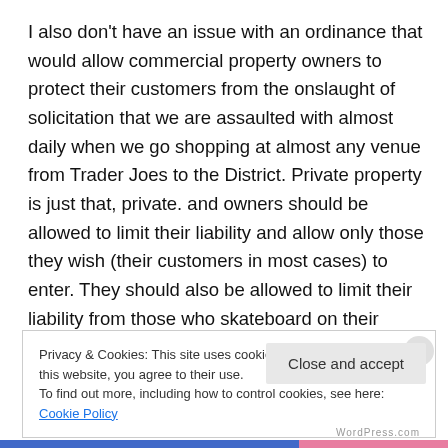I also don't have an issue with an ordinance that would allow commercial property owners to protect their customers from the onslaught of solicitation that we are assaulted with almost daily when we go shopping at almost any venue from Trader Joes to the District. Private property is just that, private. and owners should be allowed to limit their liability and allow only those they wish (their customers in most cases) to enter. They should also be allowed to limit their liability from those who skateboard on their property, although we question why skateboarding
Privacy & Cookies: This site uses cookies. By continuing to use this website, you agree to their use.
To find out more, including how to control cookies, see here: Cookie Policy
Close and accept